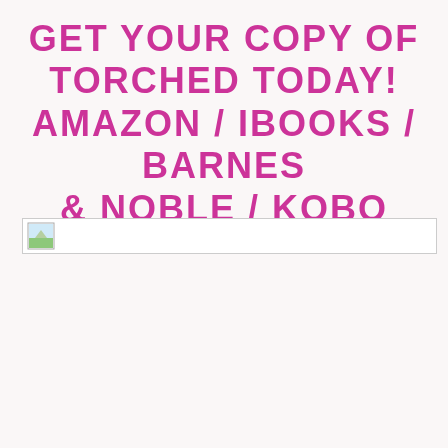GET YOUR COPY OF TORCHED TODAY! AMAZON / IBOOKS / BARNES & NOBLE / KOBO
[Figure (photo): Broken image placeholder with small icon showing a landscape thumbnail, with a thin border, positioned in the middle of the page]